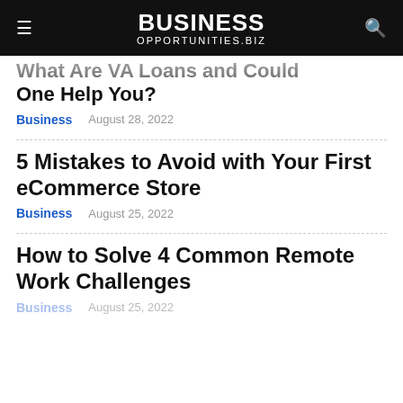BUSINESS OPPORTUNITIES.BIZ
What Are VA Loans and Could One Help You?
August 28, 2022
Business
5 Mistakes to Avoid with Your First eCommerce Store
August 25, 2022
Business
How to Solve 4 Common Remote Work Challenges
August 25, 2022
Business